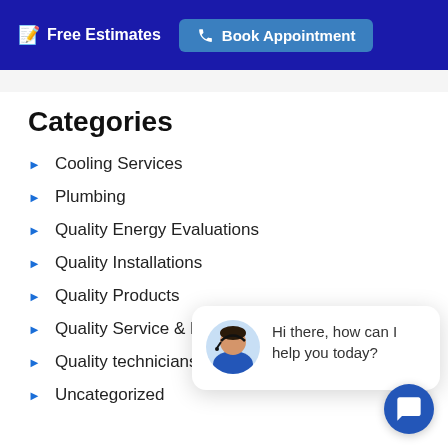Free Estimates  Book Appointment
Categories
Cooling Services
Plumbing
Quality Energy Evaluations
Quality Installations
Quality Products
Quality Service & Repa...
Quality technicians
Uncategorized
[Figure (screenshot): Chat popup with avatar of woman wearing headset and text: Hi there, how can I help you today?]